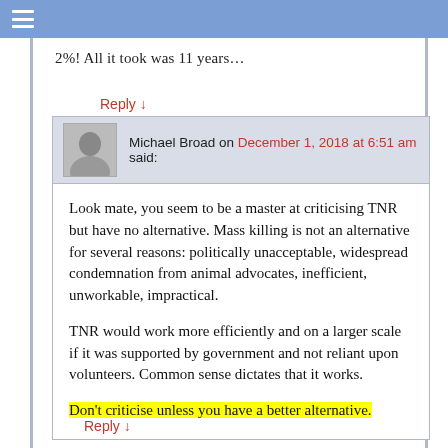☰
2%! All it took was 11 years…
Reply ↓
Michael Broad on December 1, 2018 at 6:51 am said:
Look mate, you seem to be a master at criticising TNR but have no alternative. Mass killing is not an alternative for several reasons: politically unacceptable, widespread condemnation from animal advocates, inefficient, unworkable, impractical.
TNR would work more efficiently and on a larger scale if it was supported by government and not reliant upon volunteers. Common sense dictates that it works.
Don't criticise unless you have a better alternative.
Reply ↓